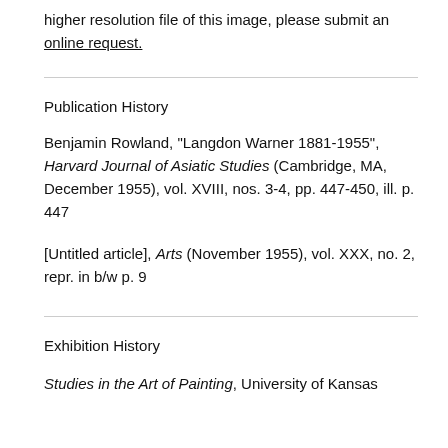higher resolution file of this image, please submit an online request.
Publication History
Benjamin Rowland, "Langdon Warner 1881-1955", Harvard Journal of Asiatic Studies (Cambridge, MA, December 1955), vol. XVIII, nos. 3-4, pp. 447-450, ill. p. 447
[Untitled article], Arts (November 1955), vol. XXX, no. 2, repr. in b/w p. 9
Exhibition History
Studies in the Art of Painting, University of Kansas